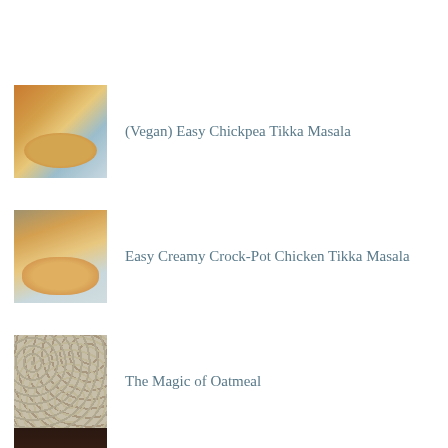[Figure (photo): Food photo of chickpea tikka masala in a white bowl with rice]
(Vegan) Easy Chickpea Tikka Masala
[Figure (photo): Food photo of creamy crock-pot chicken tikka masala in a white bowl with rice]
Easy Creamy Crock-Pot Chicken Tikka Masala
[Figure (photo): Photo of oatmeal texture close-up]
The Magic of Oatmeal
[Figure (photo): Photo of chia chocolate mousse in a glass with spoon]
Chia Chocolate Mousse